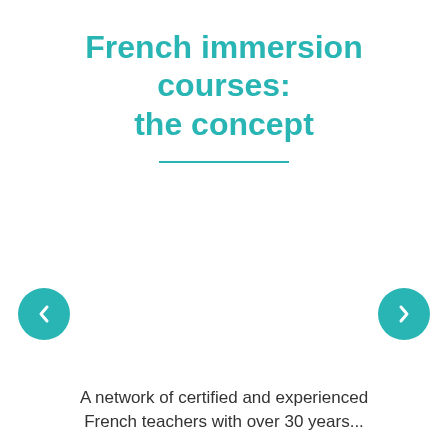French immersion courses: the concept
[Figure (illustration): Navigation carousel with left and right teal circular arrow buttons on either side of a blank content area]
A network of certified and experienced French teachers with over 30 years...